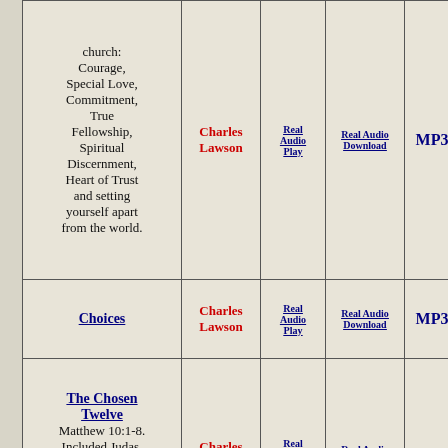| Sermon | Author | Real Audio Play | Real Audio Download | MP3 | W |
| --- | --- | --- | --- | --- | --- |
| church: Courage, Special Love, Commitment, True Fellowship, Spiritual Discernment, Heart of Trust and setting yourself apart from the world. | Charles Lawson | Real Audio Play | Real Audio Download | MP3 | W |
| Choices | Charles Lawson | Real Audio Play | Real Audio Download | MP3 | W |
| The Chosen Twelve
Matthew 10:1-8. Included Judas, Hand-picked by Jesus -- for what purpose? To what end? | Charles Lawson | Real Audio Play | Real Audio Download | MP3 | W |
| Christ Arose
John 20:1-18: | Charles Lawson |  |  |  |  |